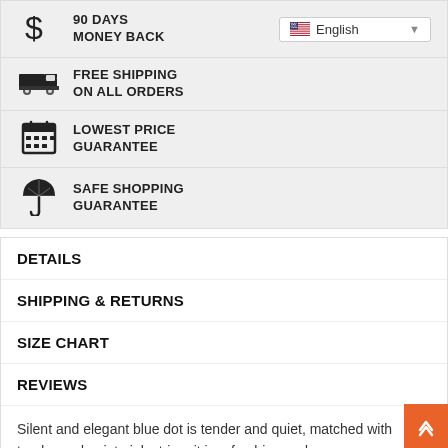90 DAYS MONEY BACK
FREE SHIPPING ON ALL ORDERS
LOWEST PRICE GUARANTEE
SAFE SHOPPING GUARANTEE
DETAILS
SHIPPING & RETURNS
SIZE CHART
REVIEWS
Silent and elegant blue dot is tender and quiet, matched with tender and quiet pink stripe, it is refreshing and